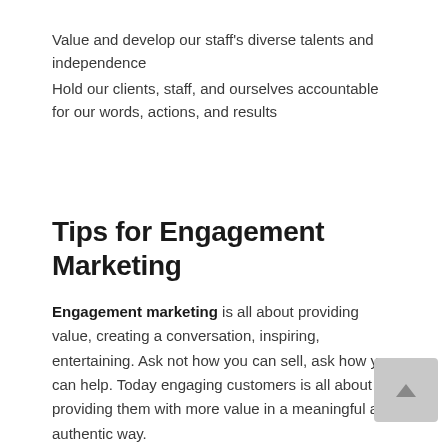Value and develop our staff's diverse talents and independence
Hold our clients, staff, and ourselves accountable for our words, actions, and results
Tips for Engagement Marketing
Engagement marketing is all about providing value, creating a conversation, inspiring, entertaining. Ask not how you can sell, ask how you can help. Today engaging customers is all about providing them with more value in a meaningful and authentic way.
Follow these five tips to surely keep your attendees engaged with your brand.